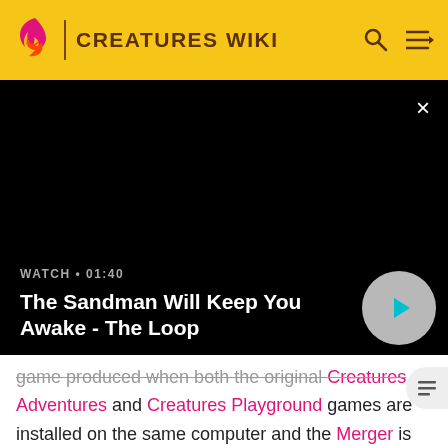CREATURES WIKI
[Figure (screenshot): Black video player panel with close button (×), WATCH • 01:40 label, title 'The Sandman Will Keep You Awake - The Loop', and a circular play button]
game produced when both the original Creatures Adventures and Creatures Playground games are installed on the same computer and the Merger is run. resulting world combines the rooms and norn breeds from both of the games as well as unlocking a selection of extra rooms and breeds which are not otherwise